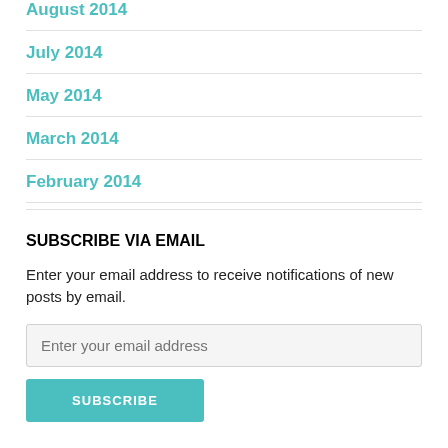July 2014
May 2014
March 2014
February 2014
SUBSCRIBE VIA EMAIL
Enter your email address to receive notifications of new posts by email.
Enter your email address
SUBSCRIBE